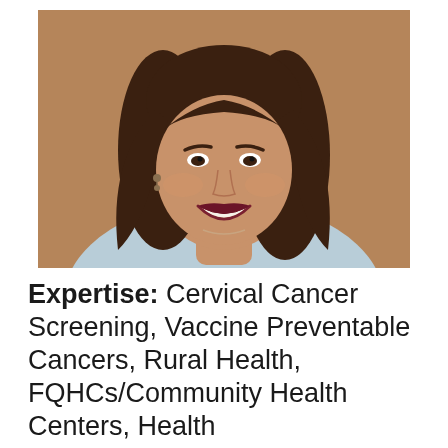[Figure (photo): Headshot portrait of a smiling woman with long dark brown hair, wearing a light blue top and dangling earrings, photographed against a warm brown background.]
Expertise: Cervical Cancer Screening, Vaccine Preventable Cancers, Rural Health, FQHCs/Community Health Centers, Health Departments/Government Health Agencies, Rural Health Clinics, Community Engagement and CBPR, Capacity Building, Epidemiology, Social